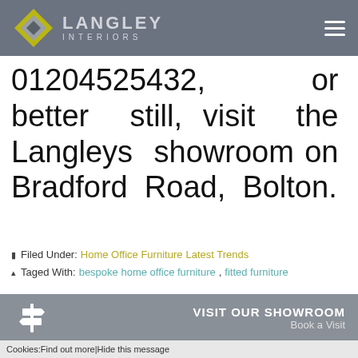Langley Interiors
01204525432, or better still, visit the Langleys showroom on Bradford Road, Bolton.
Filed Under: Home Office Furniture Latest Trends
Taged With: bespoke home office furniture, fitted furniture
VISIT OUR SHOWROOM
Book a Visit
LANGLEY TV
Cookies: Find out more | Hide this message